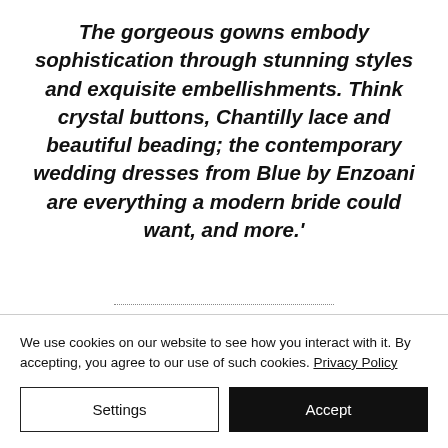The gorgeous gowns embody sophistication through stunning styles and exquisite embellishments. Think crystal buttons, Chantilly lace and beautiful beading; the contemporary wedding dresses from Blue by Enzoani are everything a modern bride could want, and more.'
We use cookies on our website to see how you interact with it. By accepting, you agree to our use of such cookies. Privacy Policy